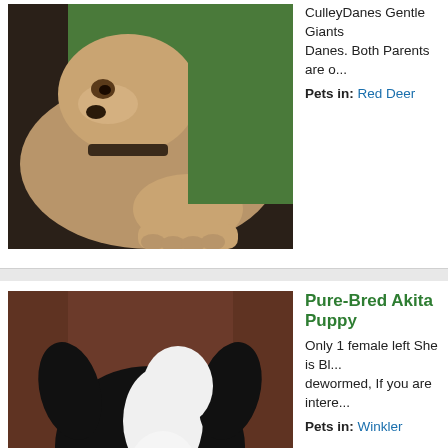[Figure (photo): Person in green shirt holding a tan/brown bulldog puppy]
CulleyDanes Gentle Giants Danes. Both Parents are o...
Pets in: Red Deer
[Figure (photo): Black and white Akita puppy lying on a red cushion in a basket]
Pure-Bred Akita Puppy
Only 1 female left She is Bl... dewormed, If you are intere...
Pets in: Winkler
Copyright © 2022 yourpetforsale.com, All Rights Reserved.
Home |